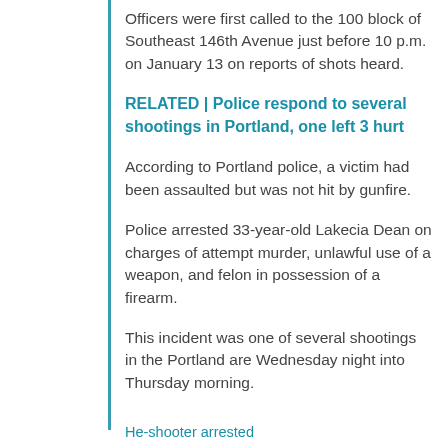Officers were first called to the 100 block of Southeast 146th Avenue just before 10 p.m. on January 13 on reports of shots heard.
RELATED | Police respond to several shootings in Portland, one left 3 hurt
According to Portland police, a victim had been assaulted but was not hit by gunfire.
Police arrested 33-year-old Lakecia Dean on charges of attempt murder, unlawful use of a weapon, and felon in possession of a firearm.
This incident was one of several shootings in the Portland are Wednesday night into Thursday morning.
He-shooter arrested